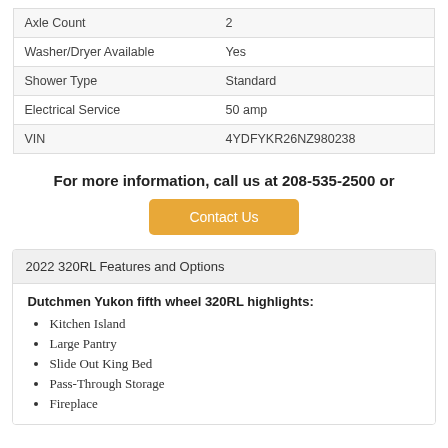| Axle Count | 2 |
| Washer/Dryer Available | Yes |
| Shower Type | Standard |
| Electrical Service | 50 amp |
| VIN | 4YDFYKR26NZ980238 |
For more information, call us at 208-535-2500 or
Contact Us
2022 320RL Features and Options
Dutchmen Yukon fifth wheel 320RL highlights:
Kitchen Island
Large Pantry
Slide Out King Bed
Pass-Through Storage
Fireplace